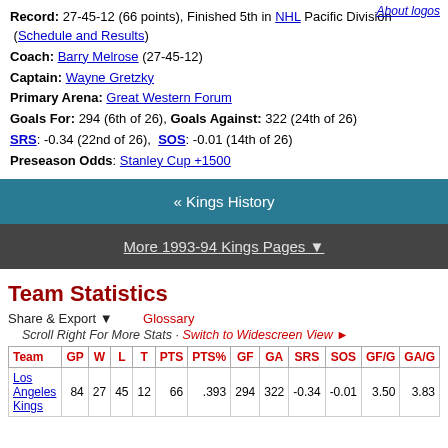About logos
Record: 27-45-12 (66 points), Finished 5th in NHL Pacific Division (Schedule and Results)
Coach: Barry Melrose (27-45-12)
Captain: Wayne Gretzky
Primary Arena: Great Western Forum
Goals For: 294 (6th of 26), Goals Against: 322 (24th of 26)
SRS: -0.34 (22nd of 26),  SOS: -0.01 (14th of 26)
Preseason Odds: Stanley Cup +1500
« Kings History
More 1993-94 Kings Pages ▼
Team Statistics
Share & Export ▼    Glossary
Scroll Right For More Stats · Switch to Widescreen View ►
| Team | GP | W | L | T | PTS | PTS% | GF | GA | SRS | SOS | GF/G | GA/G |
| --- | --- | --- | --- | --- | --- | --- | --- | --- | --- | --- | --- | --- |
| Los Angeles Kings | 84 | 27 | 45 | 12 | 66 | .393 | 294 | 322 | -0.34 | -0.01 | 3.50 | 3.83 |